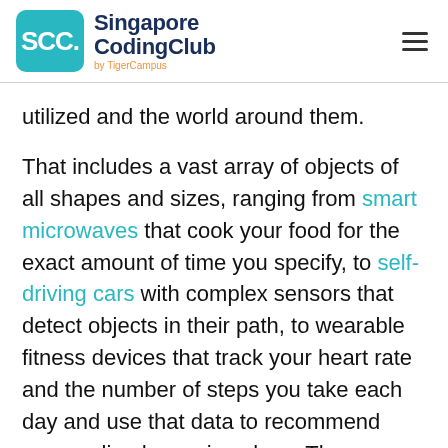SCC. Singapore CodingClub by TigerCampus
utilized and the world around them.
That includes a vast array of objects of all shapes and sizes, ranging from smart microwaves that cook your food for the exact amount of time you specify, to self-driving cars with complex sensors that detect objects in their path, to wearable fitness devices that track your heart rate and the number of steps you take each day and use that data to recommend personalized exercise plans. There are even connected footballs that can track how far and how